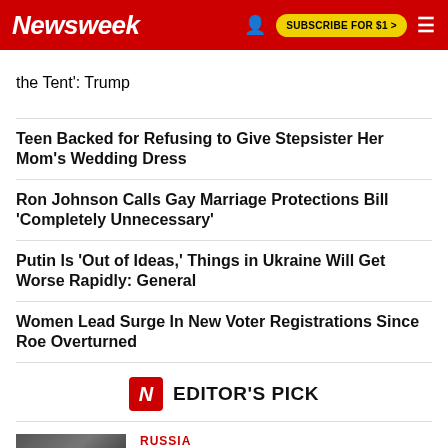Newsweek | SUBSCRIBE FOR $1 >
the Tent': Trump
Teen Backed for Refusing to Give Stepsister Her Mom's Wedding Dress
Ron Johnson Calls Gay Marriage Protections Bill 'Completely Unnecessary'
Putin Is 'Out of Ideas,' Things in Ukraine Will Get Worse Rapidly: General
Women Lead Surge In New Voter Registrations Since Roe Overturned
EDITOR'S PICK
RUSSIA
Cash, Jails, 'Stealth': Putin's Bid to Bolster Russian Forces in Ukraine